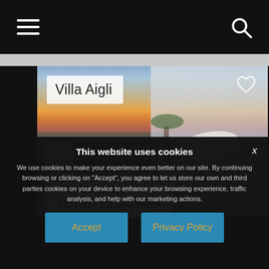Navigation bar with hamburger menu and search icon
[Figure (photo): Villa Aigli property photo showing a white luxury villa with outdoor lounge chairs and parasol, against a sunset sky, located in Paros - Aliki, Greece]
Villa Aigli
Paros - Aliki
€1.750 - €3.640/week
This website uses cookies
We use cookies to make your experience even better on our site. By continuing browsing or clicking on "Accept", you agree to let us store our own and third parties cookies on your device to enhance your browsing experience, traffic analysis, and help with our marketing actions.
Accept
Privacy Policy